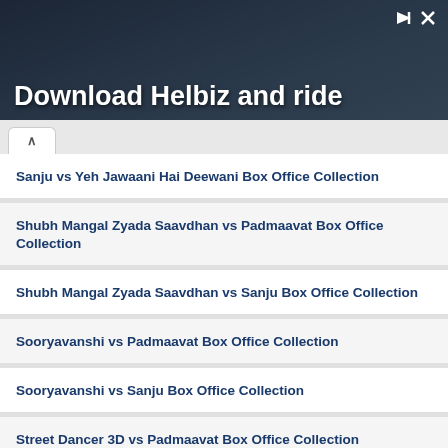[Figure (photo): Advertisement banner with dark background showing 'Download Helbiz and ride' text with a person in the background]
Sanju vs Yeh Jawaani Hai Deewani Box Office Collection
Shubh Mangal Zyada Saavdhan vs Padmaavat Box Office Collection
Shubh Mangal Zyada Saavdhan vs Sanju Box Office Collection
Sooryavanshi vs Padmaavat Box Office Collection
Sooryavanshi vs Sanju Box Office Collection
Street Dancer 3D vs Padmaavat Box Office Collection
Street Dancer 3D vs Sanju Box Office Collection
Student Of The Year 2 vs Padmaavat Box Office Collection